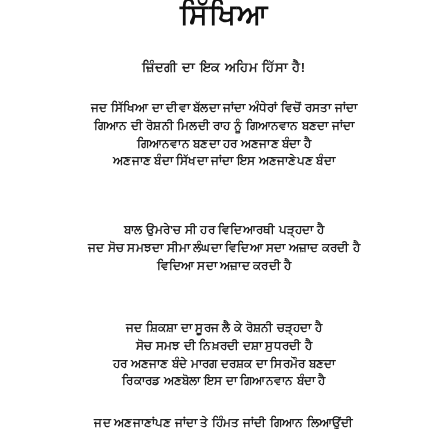ਸਿੱਖਿਆ
ਜ਼ਿੰਦਗੀ ਦਾ ਇਕ ਅਹਿਮ ਹਿੱਸਾ ਹੈ!
ਜਦ ਸਿੱਖਿਆ ਦਾ ਦੀਵਾ ਬੱਲਦਾ ਜਾਂਦਾ ਅੰਧੇਰਾਂ ਵਿਚੋਂ ਰਸਤਾ ਜਾਂਦਾ ਗਿਆਨ ਦੀ ਰੋਸ਼ਨੀ ਮਿਲਦੀ ਰਾਹ ਨੂੰ ਗਿਆਨਵਾਨ ਬਣਦਾ ਜਾਂਦਾ ਹਰ ਅਣਜਾਣ ਬੰਦਾ
ਬਾਲ ਉਮਰੇ'ਚ ਸੀ ਹਰ ਵਿਦਿਆਰਥੀ ਪੜ੍ਹਦਾ ਹੈ ਜਦ ਸੋਚ ਸਮਝਦਾ ਸੀਮਾ ਲੰਘਦਾ ਵਿਦਿਆ ਸਦਾ ਅਜ਼ਾਦ ਕਰਦੀ ਹੈ
ਜਦ ਸ਼ਿਕਸ਼ਾ ਦਾ ਸੂਰਜ ਲੈ ਕੇ ਰੋਸ਼ਨੀ ਚੜ੍ਹਦਾ ਹੈ ਸੋਚ ਸਮਝ ਦੀ ਨਿਖ਼ਰਦੀ ਦਸ਼ਾ ਸੁਧਰਦੀ ਹੈ ਹਰ ਅਣਜਾਣ ਬੰਦੇ ਮਾਰਗ ਦਰਸ਼ਕ ਦਾ ਸਿਰਮੌਰ ਬਣਦਾ ਰਿਕਾਰਡ ਅਣਬੋਲਾ ਇਸ ਦਾ ਗਿਆਨਵਾਨ ਬੰਦਾ ਹੈ